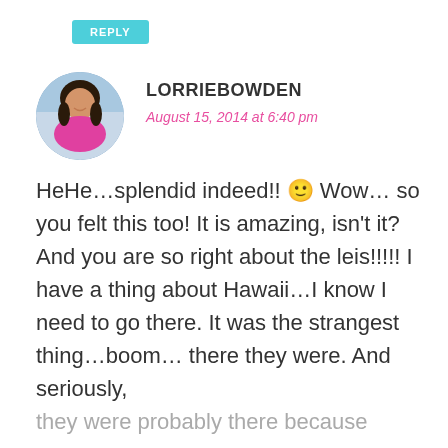REPLY
[Figure (photo): Circular avatar photo of a woman with dark hair, wearing a colorful top, against a blue/purple background]
LORRIEBOWDEN
August 15, 2014 at 6:40 pm
HeHe…splendid indeed!! 🙂 Wow… so you felt this too! It is amazing, isn't it? And you are so right about the leis!!!!! I have a thing about Hawaii…I know I need to go there. It was the strangest thing…boom… there they were. And seriously, they were probably there because